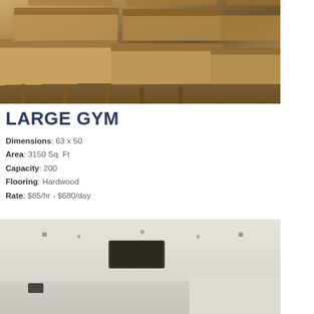[Figure (photo): Interior photo of a large gym or hall showing rows of wooden pews/benches on a hardwood floor, viewed from an angle]
LARGE GYM
Dimensions: 63 x 50
Area: 3150 Sq. Ft
Capacity: 200
Flooring: Hardwood
Rate: $85/hr - $680/day
[Figure (photo): Interior photo of a large gym or room showing white ceiling with recessed lights, speaker boxes mounted near ceiling, and plain walls]